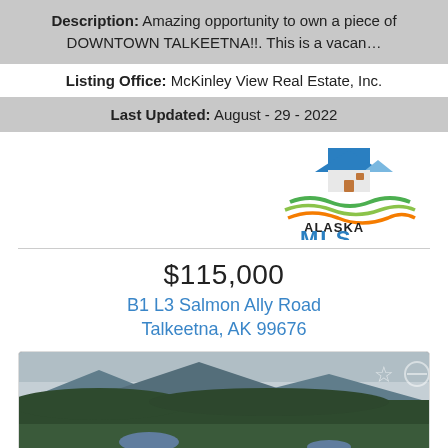Description: Amazing opportunity to own a piece of DOWNTOWN TALKEETNA!!. This is a vacan…
Listing Office: McKinley View Real Estate, Inc.
Last Updated: August - 29 - 2022
[Figure (logo): Alaska MLS logo with house icon, green/orange wave design, and bold blue MLS text]
$115,000
B1 L3 Salmon Ally Road
Talkeetna, AK 99676
[Figure (photo): Aerial landscape photo showing forested hills and a small lake under overcast sky in Alaska]